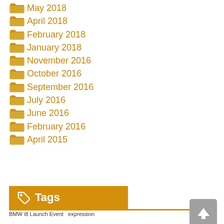May 2018
April 2018
February 2018
January 2018
November 2016
October 2016
September 2016
July 2016
June 2016
February 2016
April 2015
Tags
BMW i8 Launch Event  expression